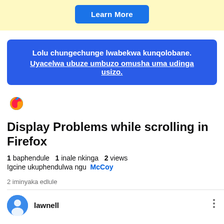[Figure (screenshot): Yellow banner with a blue 'Learn More' button]
Lolu chungechunge lwabekwa kunqolobane. Uyacelwa ubuze umbuzo omusha uma udinga usizo.
[Figure (logo): Firefox browser logo icon]
Display Problems while scrolling in Firefox
1 baphendule  1 inale nkinga  2 views
Igcine ukuphendulwa ngu McCoy
2 iminyaka edlule
lawnell